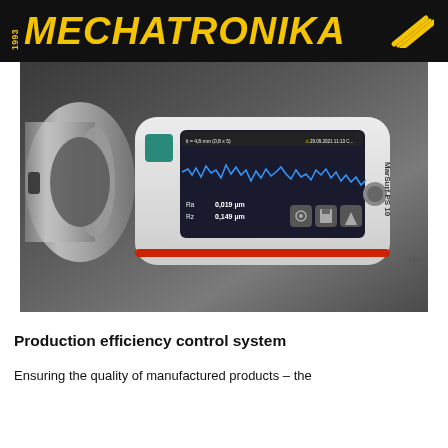1993 MECHATRONIKA
[Figure (photo): A Mahr MarSurf PS 10 handheld surface roughness measuring device (profilometer) shown in contact with a metallic cylindrical part. The device's screen displays a surface profile trace in blue and measurement results Ra 0.019 µm and Rz 0.149 µm.]
Production efficiency control system
Ensuring the quality of manufactured products – the